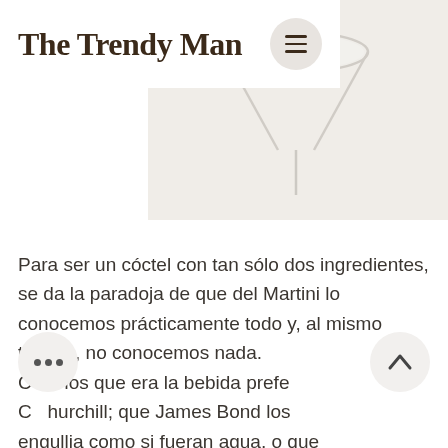The Trendy Man
[Figure (photo): Top-down view of a martini glass with an olive on a cocktail pick, on a light cream/beige background]
Para ser un cóctel con tan sólo dos ingredientes, se da la paradoja de que del Martini lo conocemos prácticamente todo y, al mismo tiempo, no conocemos nada. C...nos que era la bebida prefe... C...hurchill; que James Bond los engullia como si fueran agua, o que